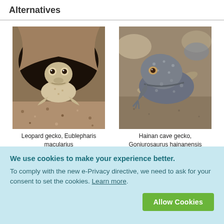Alternatives
[Figure (photo): Leopard gecko (Eublepharis macularius) peering out from a rocky cave/burrow, close-up face shot]
Leopard gecko, Eublepharis macularius
[Figure (photo): Hainan cave gecko (Goniurosaurus hainanensis) on rocky ground, side view showing spotted grey body]
Hainan cave gecko, Goniurosaurus hainanensis
We use cookies to make your experience better. To comply with the new e-Privacy directive, we need to ask for your consent to set the cookies. Learn more.